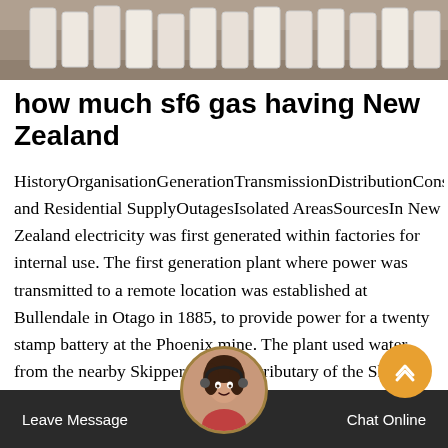[Figure (photo): Photo of white/grey cylindrical gas canisters or containers on a surface, top portion of image]
how much sf6 gas having New Zealand
HistoryOrganisationGenerationTransmissionDistributionConsumption and Residential SupplyOutagesIsolated AreasSourcesIn New Zealand electricity was first generated within factories for internal use. The first generation plant where power was transmitted to a remote location was established at Bullendale in Otago in 1885, to provide power for a twenty stamp battery at the Phoenix mine. The plant used water from the nearby Skippers Creek, a tributary of the Shotover River. Reefton on the West Coast became the first electrified town in 1888 after the Reefton Power Station was commissioned, while the firSee more on en.wikipedia.orgABB-Gas insulated switchgear (Switchgear) new.abb/medium-voltage/products/gas-insulated-switchgear/ieee-standardfor...Gas-insulated ring main unit SafeRing Medium voltage MV sf6
[Figure (photo): Customer service chat widget with avatar of a woman with headset, Leave Message button on left, Chat Online button on right, orange scroll-to-top button]
Leave Message   Chat Online